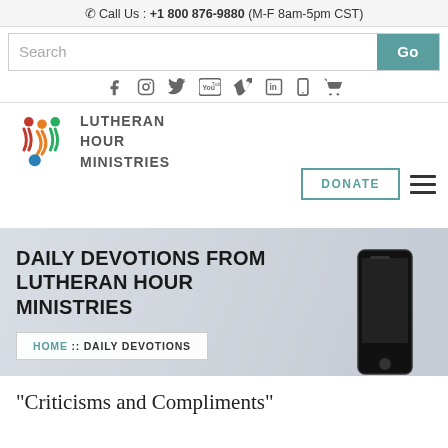Call Us : +1 800 876-9880 (M-F 8am-5pm CST)
[Figure (screenshot): Search bar with Go button]
[Figure (infographic): Social media icons: Facebook, Instagram, Twitter, YouTube, Vimeo, LinkedIn, Mobile, Cart]
[Figure (logo): Lutheran Hour Ministries logo with colorful figure icon and text]
[Figure (screenshot): DONATE button and hamburger menu]
[Figure (photo): Banner with text DAILY DEVOTIONS FROM LUTHERAN HOUR MINISTRIES, smartphone image, breadcrumb navigation HOME :: DAILY DEVOTIONS]
"Criticisms and Compliments"